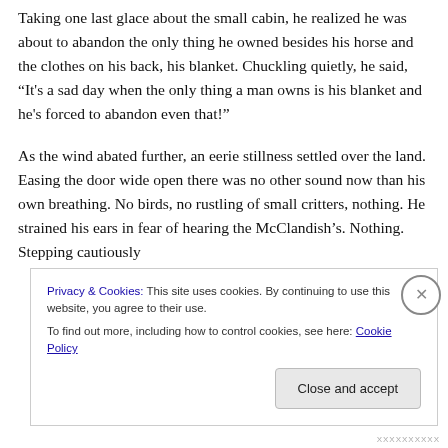Taking one last glace about the small cabin, he realized he was about to abandon the only thing he owned besides his horse and the clothes on his back, his blanket. Chuckling quietly, he said, “It's a sad day when the only thing a man owns is his blanket and he's forced to abandon even that!”
As the wind abated further, an eerie stillness settled over the land. Easing the door wide open there was no other sound now than his own breathing. No birds, no rustling of small critters, nothing. He strained his ears in fear of hearing the McClandish’s. Nothing. Stepping cautiously into the open with one hand on the door to minimize…
Privacy & Cookies: This site uses cookies. By continuing to use this website, you agree to their use.
To find out more, including how to control cookies, see here: Cookie Policy
Close and accept